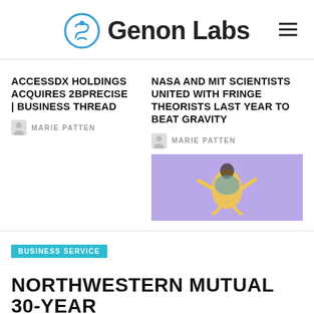Genon Labs
ACCESSDX HOLDINGS ACQUIRES 2BPRECISE | BUSINESS THREAD
MARIE PATTEN
NASA AND MIT SCIENTISTS UNITED WITH FRINGE THEORISTS LAST YEAR TO BEAT GRAVITY
MARIE PATTEN
[Figure (photo): Woman in yellow dress and floral top jumping against a purple background]
BUSINESS SERVICE
NORTHWESTERN MUTUAL 30-YEAR